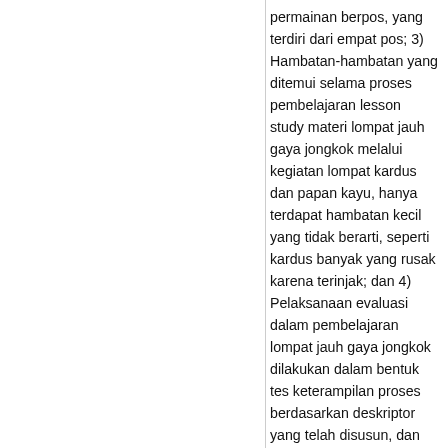permainan berpos, yang terdiri dari empat pos; 3) Hambatan-hambatan yang ditemui selama proses pembelajaran lesson study materi lompat jauh gaya jongkok melalui kegiatan lompat kardus dan papan kayu, hanya terdapat hambatan kecil yang tidak berarti, seperti kardus banyak yang rusak karena terinjak; dan 4) Pelaksanaan evaluasi dalam pembelajaran lompat jauh gaya jongkok dilakukan dalam bentuk tes keterampilan proses berdasarkan deskriptor yang telah disusun, dan tes keterampilan produk pada pertemuan terakhir.
Kata Kunci: Lesson Study, pembinaan, profesi.
Kata kunci : Lesson Study, pembinaan, profesi.
Abstrak DOC   Abstrak PDF
Send to email   Print   Share